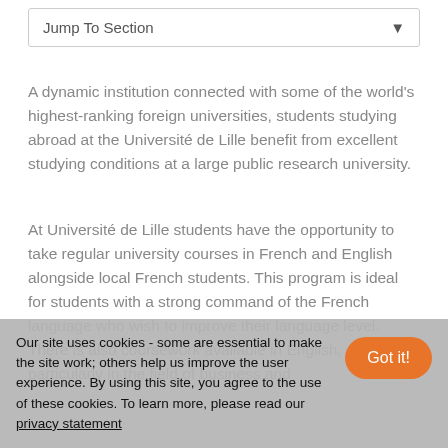Jump To Section
A dynamic institution connected with some of the world's highest-ranking foreign universities, students studying abroad at the Université de Lille benefit from excellent studying conditions at a large public research university.
At Université de Lille students have the opportunity to take regular university courses in French and English alongside local French students. This program is ideal for students with a strong command of the French language who wish to improve their language level. There is also coursework available in English, particularly in the field of business and
Our site uses cookies - some are essential to make the site work; others help us improve the user experience. By using this site, you agree to the use of these cookies. To learn more, please read our privacy statement